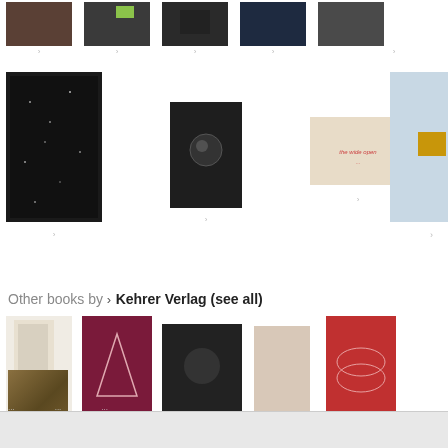[Figure (screenshot): Top row of book cover thumbnails with navigation arrows between them, showing 5 dark-toned book covers]
[Figure (screenshot): Second row of book cover thumbnails: sparkly dark cover, dark portrait, beige/cream cover with red text, light blue with yellow square]
Other books by > Kehrer Verlag (see all)
[Figure (screenshot): Row of 6 book covers by Kehrer Verlag: white curtain interior, dark red with triangle, dark with figure, beige minimal, red with circles]
[Figure (screenshot): Single book cover: golden/amber pendant lights installation]